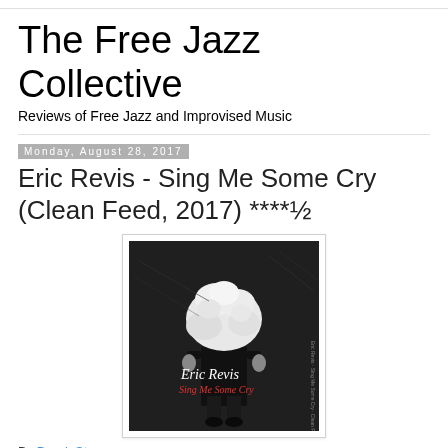The Free Jazz Collective
Reviews of Free Jazz and Improvised Music
Monday, August 28, 2017
Eric Revis - Sing Me Some Cry (Clean Feed, 2017) ****½
[Figure (photo): Album cover for Eric Revis - Sing Me Some Cry. Dark background image of a figure in black clothing with a large fluffy white cloud/feather covering their head. Text on cover reads 'Eric Revis' in white script and 'Sing Me Some Cry' in red script.]
By Derek Stone